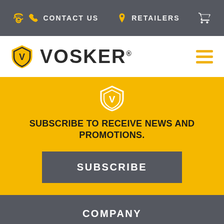CONTACT US   RETAILERS
[Figure (logo): Vosker logo with shield icon containing letter V and wordmark VOSKER with registered trademark symbol]
SUBSCRIBE TO RECEIVE NEWS AND PROMOTIONS.
SUBSCRIBE
COMPANY
Careers
About us
Company news
Newsletter